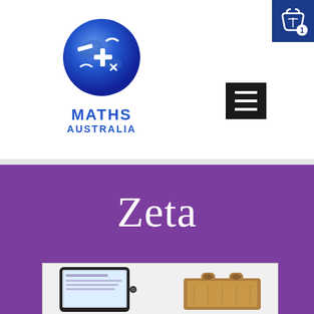[Figure (logo): Maths Australia logo: blue globe with math symbols, text MATHS AUSTRALIA below]
[Figure (other): Shopping cart icon with badge showing 1, blue background, top right corner]
[Figure (other): Black hamburger menu button with three white horizontal lines]
Zeta
[Figure (photo): Product image showing a tablet/iPad device and a wooden tray against white/grey background]